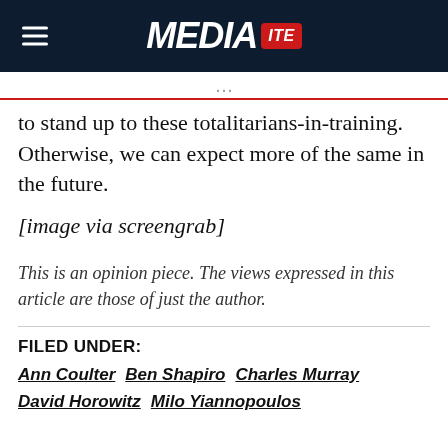MEDIAITE
to stand up to these totalitarians-in-training. Otherwise, we can expect more of the same in the future.
[image via screengrab]
This is an opinion piece. The views expressed in this article are those of just the author.
FILED UNDER: Ann Coulter  Ben Shapiro  Charles Murray  David Horowitz  Milo Yiannopoulos